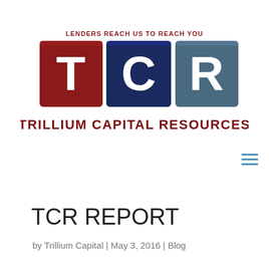[Figure (logo): Trillium Capital Resources logo with tagline 'LENDERS REACH US TO REACH YOU' above three colored tiles (red T, dark blue C, steel blue R) and company name below]
TCR REPORT
by Trillium Capital | May 3, 2016 | Blog